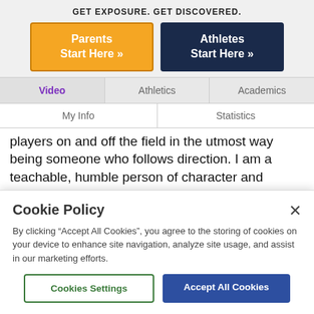GET EXPOSURE. GET DISCOVERED.
Parents Start Here »
Athletes Start Here »
Video
Athletics
Academics
My Info
Statistics
players on and off the field in the utmost way being someone who follows direction. I am a teachable, humble person of character and integrity seeking opportunities to grow in the sport.
Athletically and academically I am comfortable with
Cookie Policy
By clicking “Accept All Cookies”, you agree to the storing of cookies on your device to enhance site navigation, analyze site usage, and assist in our marketing efforts.
Cookies Settings
Accept All Cookies